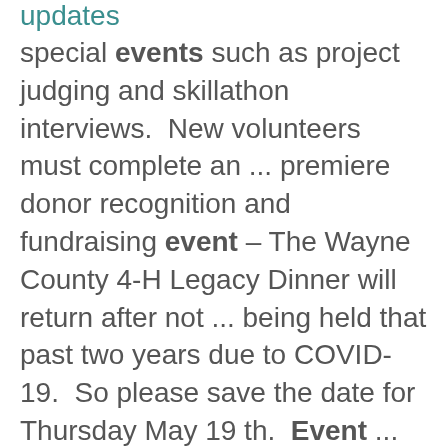updates
special events such as project judging and skillathon interviews.  New volunteers must complete an ... premiere donor recognition and fundraising event – The Wayne County 4-H Legacy Dinner will return after not ... being held that past two years due to COVID-19.  So please save the date for Thursday May 19 th.  Event ...
Selecting and Starting Seeds
https://wayne.osu.edu/news/selecting-and-starting-seeds
a benefit of the plastic flat starter kits is that they are reusable year to year with